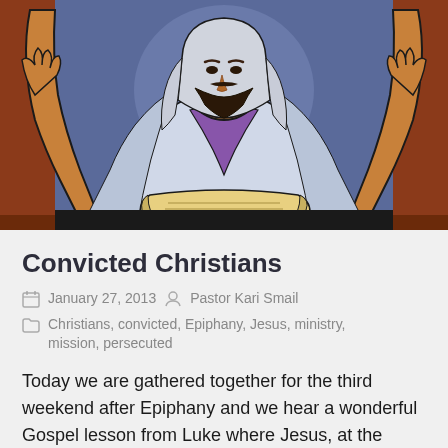[Figure (illustration): Illustration of Jesus with arms raised, wearing white and blue robes with a purple stole, holding an open scroll, set against a blue and brown/red background.]
Convicted Christians
January 27, 2013  Pastor Kari Smail
Christians, convicted, Epiphany, Jesus, ministry, mission, persecuted
Today we are gathered together for the third weekend after Epiphany and we hear a wonderful Gospel lesson from Luke where Jesus, at the